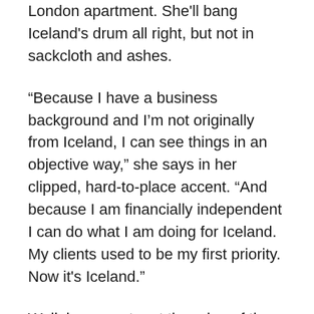London apartment. She'll bang Iceland's drum all right, but not in sackcloth and ashes.
“Because I have a business background and I’m not originally from Iceland, I can see things in an objective way,” she says in her clipped, hard-to-place accent. “And because I am financially independent I can do what I am doing for Iceland. My clients used to be my first priority. Now it’s Iceland.”
Well, in a country at the edge of the abyss, a brain for figures could come in useful. Moussaieff has certainly been successful as a businesswoman: the Moussaieff shop at the Park Lane Hilton is said to have the highest turnover per square foot of any retailer in Britain. She is a smart cookie who says she understands the difference between what is hers and what is not, always flying